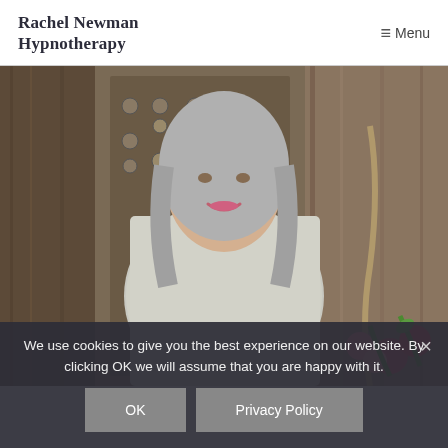Rachel Newman Hypnotherapy
≡ Menu
[Figure (photo): Professional photo of a woman with shoulder-length grey hair, smiling, wearing a patterned light grey blouse, standing in front of an ornate wooden door with metal decorations. Pink and red flowers visible in the lower right.]
We use cookies to give you the best experience on our website. By clicking OK we will assume that you are happy with it.
OK
Privacy Policy